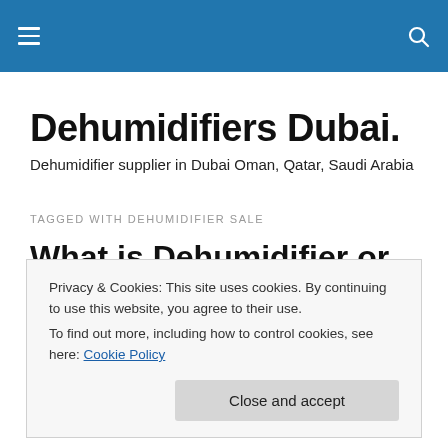Dehumidifiers Dubai.
Dehumidifier supplier in Dubai Oman, Qatar, Saudi Arabia
TAGGED WITH DEHUMIDIFIER SALE
What is Dehumidifier or De-humidifier?
Privacy & Cookies: This site uses cookies. By continuing to use this website, you agree to their use.
To find out more, including how to control cookies, see here: Cookie Policy